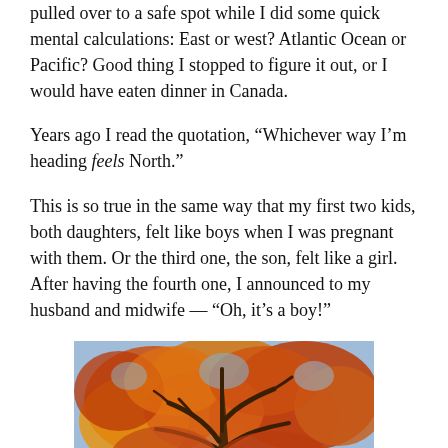pulled over to a safe spot while I did some quick mental calculations: East or west? Atlantic Ocean or Pacific? Good thing I stopped to figure it out, or I would have eaten dinner in Canada.
Years ago I read the quotation, “Whichever way I’m heading feels North.”
This is so true in the same way that my first two kids, both daughters, felt like boys when I was pregnant with them. Or the third one, the son, felt like a girl. After having the fourth one, I announced to my husband and midwife — “Oh, it’s a boy!”
[Figure (photo): A painting or photograph of a large tree with autumn foliage in shades of orange, gold, red, and brown, viewed from below looking up through the branches against a blue sky.]